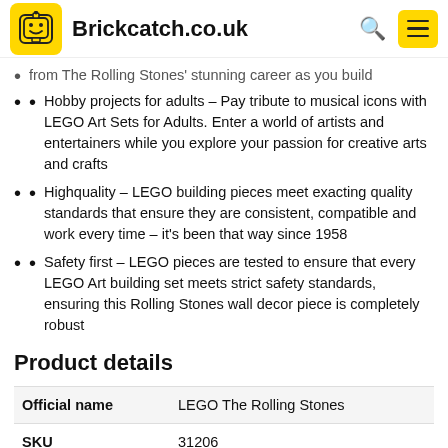Brickcatch.co.uk
from The Rolling Stones' stunning career as you build
Hobby projects for adults – Pay tribute to musical icons with LEGO Art Sets for Adults. Enter a world of artists and entertainers while you explore your passion for creative arts and crafts
Highquality – LEGO building pieces meet exacting quality standards that ensure they are consistent, compatible and work every time – it's been that way since 1958
Safety first – LEGO pieces are tested to ensure that every LEGO Art building set meets strict safety standards, ensuring this Rolling Stones wall decor piece is completely robust
Product details
|  |  |
| --- | --- |
| Official name | LEGO The Rolling Stones |
| SKU | 31206 |